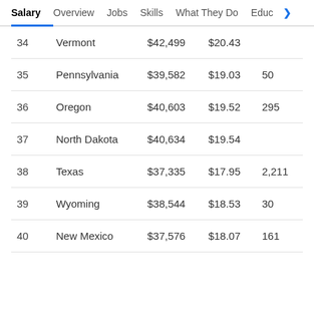Salary | Overview | Jobs | Skills | What They Do | Educ >
| # | State | Salary | Hourly | Jobs |
| --- | --- | --- | --- | --- |
| 34 | Vermont | $42,499 | $20.43 |  |
| 35 | Pennsylvania | $39,582 | $19.03 | 50 |
| 36 | Oregon | $40,603 | $19.52 | 295 |
| 37 | North Dakota | $40,634 | $19.54 |  |
| 38 | Texas | $37,335 | $17.95 | 2,211 |
| 39 | Wyoming | $38,544 | $18.53 | 30 |
| 40 | New Mexico | $37,576 | $18.07 | 161 |